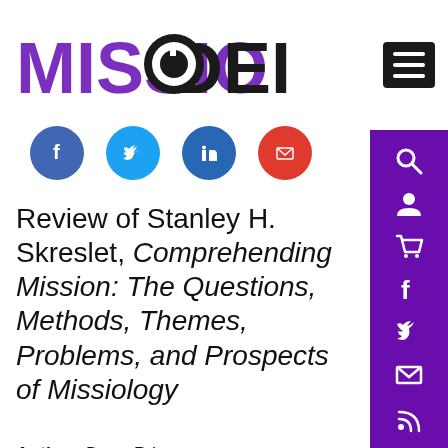[Figure (logo): MissioDEI logo — purple bold 'MISSIO' text with black 'DEI' and circular icon]
[Figure (infographic): Social sharing icons row: Facebook (blue circle), Twitter (light blue circle), LinkedIn (dark blue circle), Email (red circle)]
Review of Stanley H. Skreslet, Comprehending Mission: The Questions, Methods, Themes, Problems, and Prospects of Missiology
Author: Doug Priest
Published: August 2012